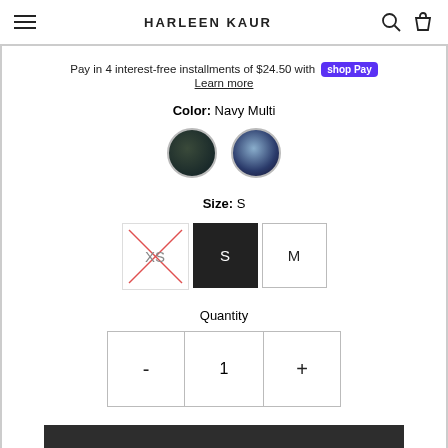HARLEEN KAUR
Pay in 4 interest-free installments of $24.50 with Shop Pay
Learn more
Color: Navy Multi
[Figure (illustration): Two circular color swatches: dark green/black and navy blue multi]
Size: S
[Figure (illustration): Three size buttons: XS (crossed out/unavailable), S (selected, black background), M (available)]
Quantity
[Figure (illustration): Quantity controls: minus button, 1, plus button]
Add to Cart